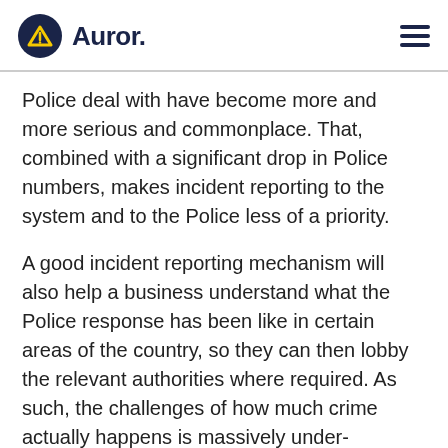Auror.
Police deal with have become more and more serious and commonplace. That, combined with a significant drop in Police numbers, makes incident reporting to the system and to the Police less of a priority.
A good incident reporting mechanism will also help a business understand what the Police response has been like in certain areas of the country, so they can then lobby the relevant authorities where required. As such, the challenges of how much crime actually happens is massively under-reported. Only a fraction of incidents are